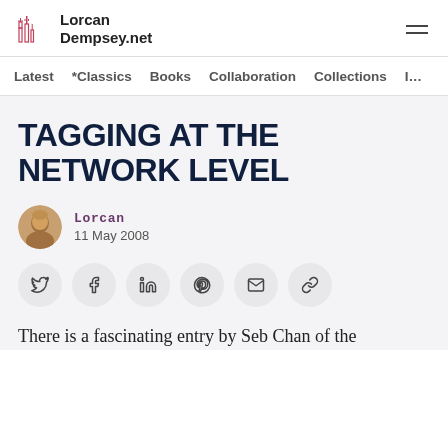LorcanDempsey.net
Latest  *Classics  Books  Collaboration  Collections  I…
TAGGING AT THE NETWORK LEVEL
Lorcan
11 May 2008
[Figure (other): Social share buttons: Twitter, Facebook, LinkedIn, Pinterest, Email, Link]
There is a fascinating entry by Seb Chan of the